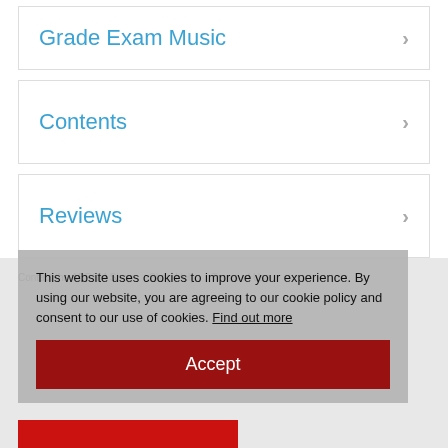Grade Exam Music
Contents
Reviews
Contact the ABRSM Shop  Shop Help  Terms of Use
Supporting the teaching and learning of music in partnership with the
Royal Academy of Music | Royal College of Music London | Royal Northern College of Music | Royal Conservatoire of Scotland
This website uses cookies to improve your experience. By using our website, you are agreeing to our cookie policy and consent to our use of cookies. Find out more
Accept